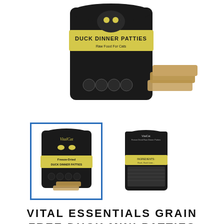[Figure (photo): Product photo of Vital Cat Duck Dinner Patties freeze-dried raw food for cats bag with patties visible beside it, shown from the front on a white background]
[Figure (photo): Two product thumbnails: front view of Vital Cat Duck Dinner Patties freeze-dried raw food bag (selected, highlighted with blue border) and back view of the same product bag]
VITAL ESSENTIALS GRAIN FREE DUCK MINI PATTIES FREEZE DRIED RAW FOOD FOR CATS